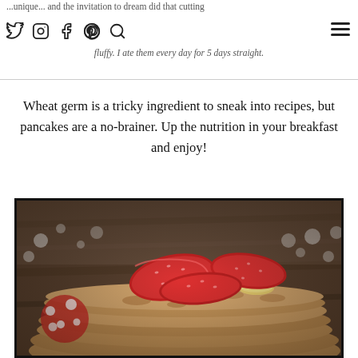...unique... and the invitation to dream did that cutting who? I was skeptical, but these pancakes were better than fluffy. I ate them every day for 5 days straight.
Wheat germ is a tricky ingredient to sneak into recipes, but pancakes are a no-brainer. Up the nutrition in your breakfast and enjoy!
[Figure (photo): Stack of wheat germ pancakes topped with fresh sliced strawberries on a plate, with blurred decorative elements in the background on a wooden surface.]